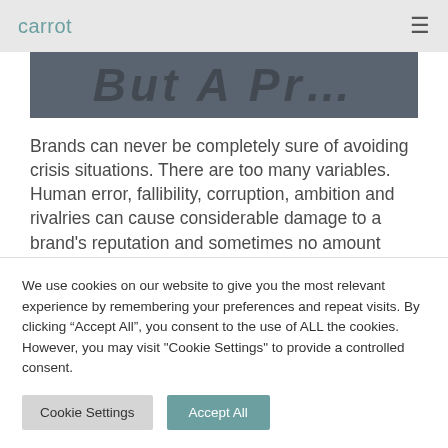carrot
[Figure (photo): Dark banner image with large bold italic text partially visible, appearing to show a phrase starting with letters 'But A Pr...' in dark overlay style]
Brands can never be completely sure of avoiding crisis situations. There are too many variables. Human error, fallibility, corruption, ambition and rivalries can cause considerable damage to a brand's reputation and sometimes no amount
We use cookies on our website to give you the most relevant experience by remembering your preferences and repeat visits. By clicking “Accept All”, you consent to the use of ALL the cookies. However, you may visit "Cookie Settings" to provide a controlled consent.